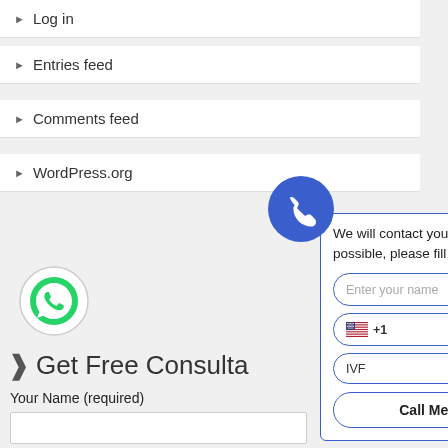Log in
Entries feed
Comments feed
WordPress.org
[Figure (logo): WhatsApp green circle logo icon]
> Get Free Consulta
Your Name (required)
Your Phone (required)
[Figure (illustration): Blue circle with white phone handset icon]
We will contact you as soon as possible, please fill in your details!
Enter your name *
+1 *
IVF
Call Me back!
luc
[Figure (illustration): Blue circle with question mark help icon]